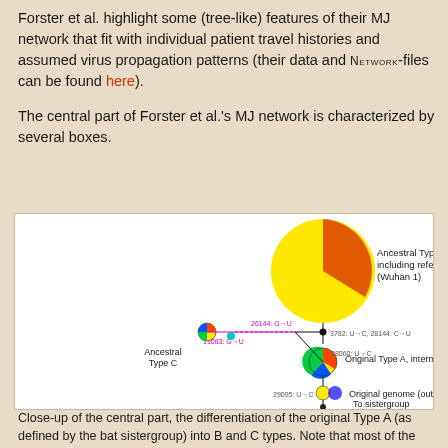Forster et al. highlight some (tree-like) features of their MJ network that fit with individual patient travel histories and assumed virus propagation patterns (their data and Network-files can be found here).
The central part of Forster et al.'s MJ network is characterized by several boxes.
[Figure (network-graph): Close-up of MJ network showing ancestral Type B (large yellow/orange pie chart node, top right), Ancestral Type C (small multicolored node, middle left), Original Type A intermediate to B and C (medium multicolored node, center), Original genome outgroup-inferred (small blue/yellow node, lower center), and To sistergroup (bottom). Nodes connected by lines with mutation labels such as 26144:G->U, 11083:G->U, 3782:U->C 28144:C->U, 28060:U->C, 29095:U->C.]
Close-up of the central part, the differentiation of the original Type A (as defined by the bat sistergroup) into B and C types. Note that most of the (likely synonymous) mutations during the intitial differentiation phase are transitions from U to C, assuming the sistergroup can inform the ingroup root. The reference sequence (Wuhan 1; NC_045512, sampled Dec